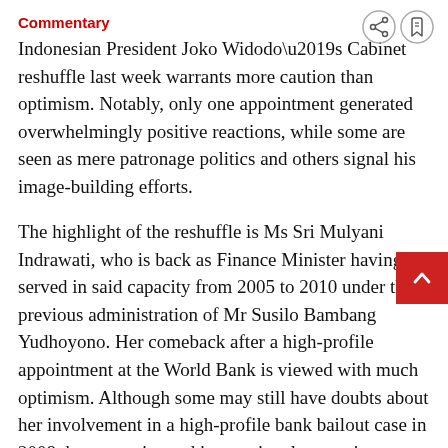Commentary
Indonesian President Joko Widodo’s Cabinet reshuffle last week warrants more caution than optimism. Notably, only one appointment generated overwhelmingly positive reactions, while some are seen as mere patronage politics and others signal his image-building efforts.
The highlight of the reshuffle is Ms Sri Mulyani Indrawati, who is back as Finance Minister having served in said capacity from 2005 to 2010 under the previous administration of Mr Susilo Bambang Yudhoyono. Her comeback after a high-profile appointment at the World Bank is viewed with much optimism. Although some may still have doubts about her involvement in a high-profile bank bailout case in 2008, her expertise and international reputation as a policy expert are desperately needed to boost South-